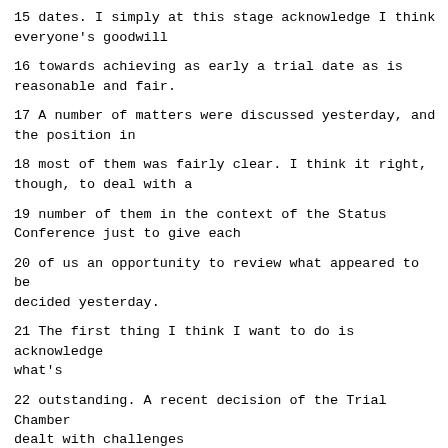15 dates. I simply at this stage acknowledge I think everyone's goodwill
16 towards achieving as early a trial date as is reasonable and fair.
17 A number of matters were discussed yesterday, and the position in
18 most of them was fairly clear. I think it right, though, to deal with a
19 number of them in the context of the Status Conference just to give each
20 of us an opportunity to review what appeared to be decided yesterday.
21 The first thing I think I want to do is acknowledge what's
22 outstanding. A recent decision of the Trial Chamber dealt with challenges
23 to the proposed amended indictment or objections to the proposed amended
24 indictment, and at the moment the ball is in the court of the Prosecution
25 on that one to produce a further revised indictment.